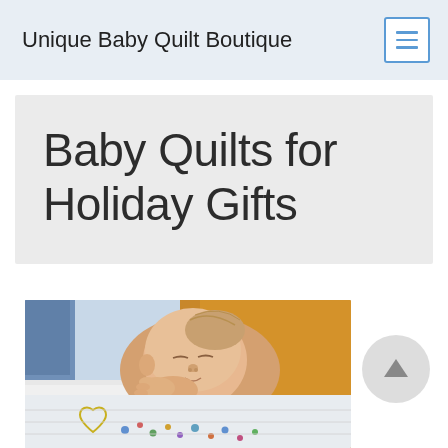Unique Baby Quilt Boutique
Baby Quilts for Holiday Gifts
[Figure (photo): A sleeping newborn baby wrapped in an orange/yellow blanket, lying on a patterned baby quilt with heart and decorative designs in blue and yellow.]